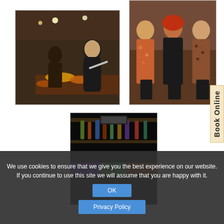[Figure (photo): People sitting at a restaurant table eating food, warm interior lighting with wooden walls]
[Figure (photo): Three women posing together in a bar or restaurant, one with red hair, floral and animal print outfits]
[Figure (photo): Dark interior of a bar with colorful lights and shelves of bottles]
We use cookies to ensure that we give you the best experience on our website. If you continue to use this site we will assume that you are happy with it.
OK
Privacy Policy